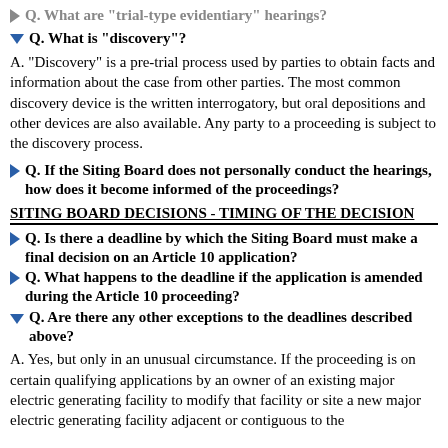Q. What are "trial-type evidentiary" hearings?
Q. What is "discovery"?
A. "Discovery" is a pre-trial process used by parties to obtain facts and information about the case from other parties. The most common discovery device is the written interrogatory, but oral depositions and other devices are also available. Any party to a proceeding is subject to the discovery process.
Q. If the Siting Board does not personally conduct the hearings, how does it become informed of the proceedings?
SITING BOARD DECISIONS - TIMING OF THE DECISION
Q. Is there a deadline by which the Siting Board must make a final decision on an Article 10 application?
Q. What happens to the deadline if the application is amended during the Article 10 proceeding?
Q. Are there any other exceptions to the deadlines described above?
A. Yes, but only in an unusual circumstance. If the proceeding is on certain qualifying applications by an owner of an existing major electric generating facility to modify that facility or site a new major electric generating facility adjacent or contiguous to the